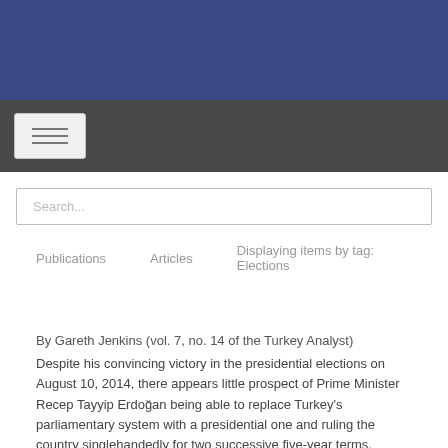[Figure (screenshot): Navigation bar with hamburger menu button on dark grey background]
[Figure (screenshot): Search input box with placeholder text 'Search...']
Publications   Articles   Displaying items by tag: Elections
By Gareth Jenkins (vol. 7, no. 14 of the Turkey Analyst)
Despite his convincing victory in the presidential elections on August 10, 2014, there appears little prospect of Prime Minister Recep Tayyip Erdoğan being able to replace Turkey's parliamentary system with a presidential one and ruling the country singlehandedly for two successive five-year terms.